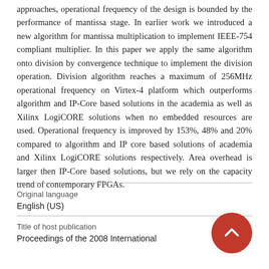approaches, operational frequency of the design is bounded by the performance of mantissa stage. In earlier work we introduced a new algorithm for mantissa multiplication to implement IEEE-754 compliant multiplier. In this paper we apply the same algorithm onto division by convergence technique to implement the division operation. Division algorithm reaches a maximum of 256MHz operational frequency on Virtex-4 platform which outperforms algorithm and IP-Core based solutions in the academia as well as Xilinx LogiCORE solutions when no embedded resources are used. Operational frequency is improved by 153%, 48% and 20% compared to algorithm and IP core based solutions of academia and Xilinx LogiCORE solutions respectively. Area overhead is larger then IP-Core based solutions, but we rely on the capacity trend of contemporary FPGAs.
| Original language |  |
| --- | --- |
| English (US) |  |
| Title of host publication |  |
| Proceedings of the 2008 International |  |